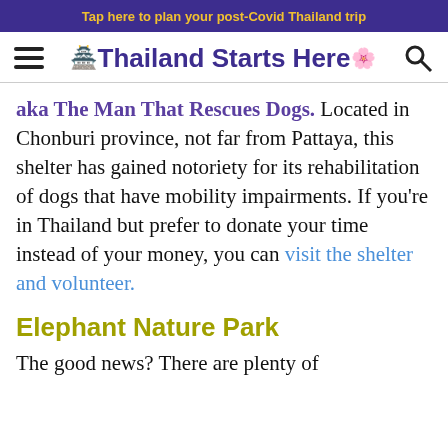Tap here to plan your post-Covid Thailand trip
[Figure (logo): Thailand Starts Here website header with hamburger menu, logo with temple icon and orchid emoji, and search icon]
aka The Man That Rescues Dogs. Located in Chonburi province, not far from Pattaya, this shelter has gained notoriety for its rehabilitation of dogs that have mobility impairments. If you're in Thailand but prefer to donate your time instead of your money, you can visit the shelter and volunteer.
Elephant Nature Park
The good news? There are plenty of